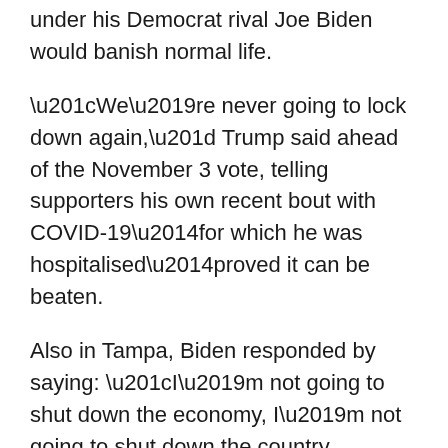under his Democrat rival Joe Biden would banish normal life.
“We’re never going to lock down again,” Trump said ahead of the November 3 vote, telling supporters his own recent bout with COVID-19—for which he was hospitalised—proved it can be beaten.
Also in Tampa, Biden responded by saying: “I’m not going to shut down the economy, I’m not going to shut down the country. I’m going to shut down the virus.”
Italy posted its own daily infection record on Friday, fuelling debate about whether it should follow France into a national lockdown.